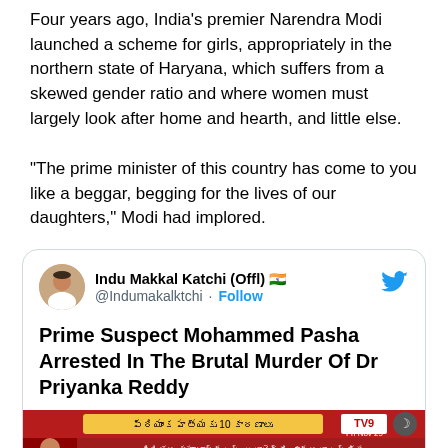Four years ago, India's premier Narendra Modi launched a scheme for girls, appropriately in the northern state of Haryana, which suffers from a skewed gender ratio and where women must largely look after home and hearth, and little else.
“The prime minister of this country has come to you like a beggar, begging for the lives of our daughters,” Modi had implored.
[Figure (screenshot): Embedded tweet from @Indumakalktchi (Indu Makkal Katchi Offl) with Indian flag emoji and Twitter bird icon. Tweet text: 'Prime Suspect Mohammed Pasha Arrested In The Brutal Murder Of Dr Priyanka Reddy'. Below the text is a screenshot of a TV9 news broadcast in Telugu showing news about Priyanka Reddy case, dated Fri Nov 29.]